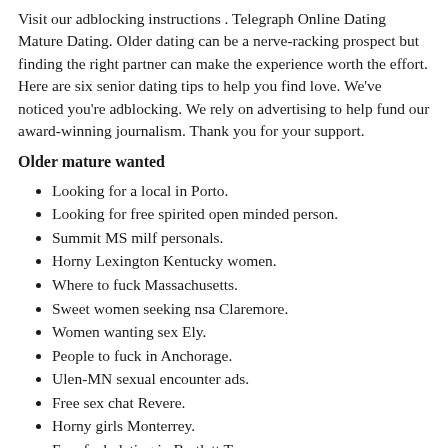Visit our adblocking instructions . Telegraph Online Dating Mature Dating. Older dating can be a nerve-racking prospect but finding the right partner can make the experience worth the effort. Here are six senior dating tips to help you find love. We've noticed you're adblocking. We rely on advertising to help fund our award-winning journalism. Thank you for your support.
Older mature wanted
Looking for a local in Porto.
Looking for free spirited open minded person.
Summit MS milf personals.
Horny Lexington Kentucky women.
Where to fuck Massachusetts.
Sweet women seeking nsa Claremore.
Women wanting sex Ely.
People to fuck in Anchorage.
Ulen-MN sexual encounter ads.
Free sex chat Revere.
Horny girls Monterrey.
Free fuck dating in Bartlett Tennessee.
Sex chat forum meet Raton.
Hot chat en toluca.
Women looking sex partner Ohio.
Teen Canada girl fucked.
Chat in chabbala...